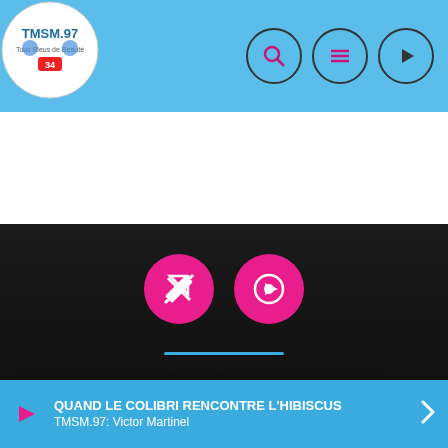[Figure (screenshot): Website header bar with TMSM.97 logo on the left and three circular icon buttons (search, menu, play) on the right, on a light blue background]
[Figure (screenshot): Dark media player section with two pink circular buttons: a lightning/tag icon and a play/circle icon, on a dark background]
Nous utilisons des cookies sur notre site Web pour vous offrir l'expérience la plus pertinente en mémorisant vos préférences et en répétant vos visites. En cliquant sur « Tout accepter », vous consentez à l'utilisation de TOUS les cookies. Cependant, vous pouvez visiter les « Paramètres des cookies » pour fournir un consentement contrôlé.
[Figure (screenshot): Bottom audio player bar in blue with play button, track title QUAND LE COLIBRI RENCONTRE L'HIBISCUS, artist TMSM.97: Victor Martinel, and forward arrow]